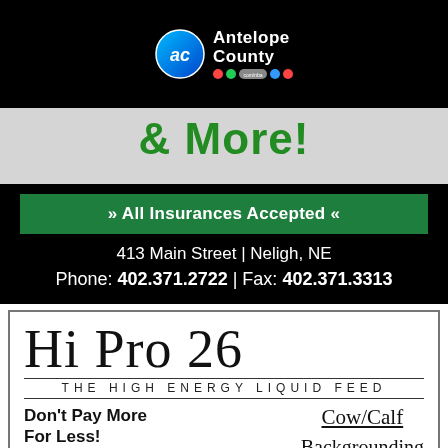[Figure (logo): Antelope County logo — circular 'ac' icon and text 'Antelope County' with colored dots]
& More!
» All Insurances Accepted «
413 Main Street  |  Neligh, NE
Phone: 402.371.2722  |  Fax: 402.371.3313
Hi Pro 26
THE HIGH ENERGY LIQUID FEED
Don't Pay More For Less!
Cow/Calf
Backgrounding